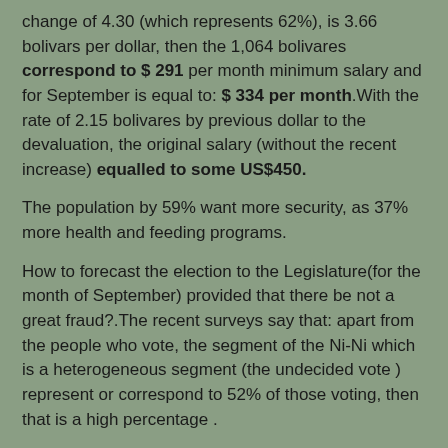change of 4.30 (which represents 62%), is 3.66 bolivars per dollar, then the 1,064 bolivares correspond to $ 291 per month minimum salary and for September is equal to: $ 334 per month.With the rate of 2.15 bolivares by previous dollar to the devaluation, the original salary (without the recent increase) equalled to some US$450.
The population by 59% want more security, as 37% more health and feeding programs.
How to forecast the election to the Legislature(for the month of September) provided that there be not a great fraud?.The recent surveys say that: apart from the people who vote, the segment of the Ni-Ni which is a heterogeneous segment (the undecided vote ) represent or correspond to 52% of those voting, then that is a high percentage .
This group called NI-Ni could vote for the opposition if they offer a new government program to combat insecurity and a new program to ensure improved health, housing and food (the social agenda).